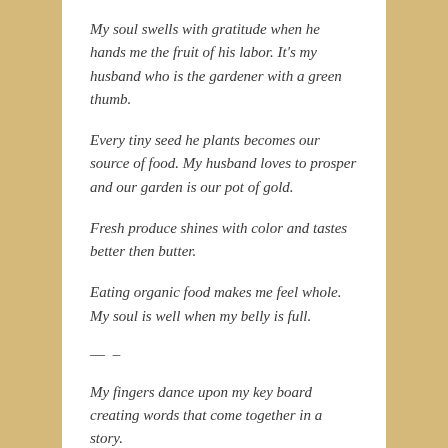My soul swells with gratitude when he hands me the fruit of his labor. It's my husband who is the gardener with a green thumb.
Every tiny seed he plants becomes our source of food. My husband loves to prosper and our garden is our pot of gold.
Fresh produce shines with color and tastes better then butter.
Eating organic food makes me feel whole. My soul is well when my belly is full.
— –
My fingers dance upon my key board creating words that come together in a story.
Feelings, ideas, wants and needs are discovered as my story unfolds.